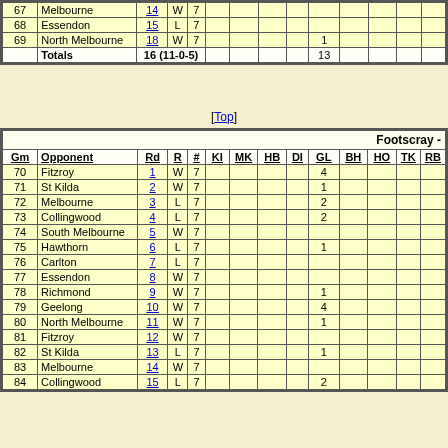| Gm | Opponent | Rd | R | # | KI | MK | HB | DI | GL | BH | HO | TK | RB |
| --- | --- | --- | --- | --- | --- | --- | --- | --- | --- | --- | --- | --- | --- |
| 67 | Melbourne | 14 | W | 7 |  |  |  |  |  |  |  |  |  |
| 68 | Essendon | 15 | L | 7 |  |  |  |  |  |  |  |  |  |
| 69 | North Melbourne | 18 | W | 7 |  |  |  | 1 |  |  |  |  |
|  | Totals | 16 (11-0-5) |  |  |  |  |  | 13 |  |  |  |  |
[Top]
| Gm | Opponent | Rd | R | # | KI | MK | HB | DI | GL | BH | HO | TK | RB |
| --- | --- | --- | --- | --- | --- | --- | --- | --- | --- | --- | --- | --- | --- |
| 70 | Fitzroy | 1 | W | 7 |  |  |  |  | 4 |  |  |  |  |
| 71 | St Kilda | 2 | W | 7 |  |  |  |  | 1 |  |  |  |  |
| 72 | Melbourne | 3 | L | 7 |  |  |  |  | 2 |  |  |  |  |
| 73 | Collingwood | 4 | L | 7 |  |  |  |  | 2 |  |  |  |  |
| 74 | South Melbourne | 5 | W | 7 |  |  |  |  |  |  |  |  |  |
| 75 | Hawthorn | 6 | L | 7 |  |  |  |  | 1 |  |  |  |  |
| 76 | Carlton | 7 | L | 7 |  |  |  |  |  |  |  |  |  |
| 77 | Essendon | 8 | W | 7 |  |  |  |  |  |  |  |  |  |
| 78 | Richmond | 9 | W | 7 |  |  |  |  | 1 |  |  |  |  |
| 79 | Geelong | 10 | W | 7 |  |  |  |  | 4 |  |  |  |  |
| 80 | North Melbourne | 11 | W | 7 |  |  |  |  | 1 |  |  |  |  |
| 81 | Fitzroy | 12 | W | 7 |  |  |  |  |  |  |  |  |  |
| 82 | St Kilda | 13 | L | 7 |  |  |  |  | 1 |  |  |  |  |
| 83 | Melbourne | 14 | W | 7 |  |  |  |  |  |  |  |  |  |
| 84 | Collingwood | 15 | L | 7 |  |  |  |  | 2 |  |  |  |  |